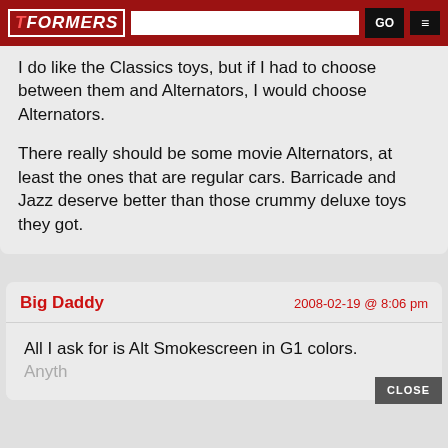TFORMERS
I do like the Classics toys, but if I had to choose between them and Alternators, I would choose Alternators.

There really should be some movie Alternators, at least the ones that are regular cars. Barricade and Jazz deserve better than those crummy deluxe toys they got.
Big Daddy  2008-02-19 @ 8:06 pm
All I ask for is Alt Smokescreen in G1 colors. Anything else, I don't care